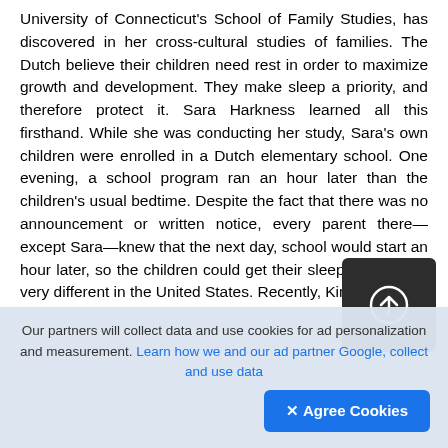University of Connecticut's School of Family Studies, has discovered in her cross-cultural studies of families. The Dutch believe their children need rest in order to maximize growth and development. They make sleep a priority, and therefore protect it. Sara Harkness learned all this firsthand. While she was conducting her study, Sara's own children were enrolled in a Dutch elementary school. One evening, a school program ran an hour later than the children's usual bedtime. Despite the fact that there was no announcement or written notice, every parent there—except Sara—knew that the next day, school would start an hour later, so the children could get their sleep. Things are very different in the United States. Recently, Kim, the
[Figure (other): Dark rounded square button with an upload/arrow-circle icon in white, overlaid on the text content]
Our partners will collect data and use cookies for ad personalization and measurement. Learn how we and our ad partner Google, collect and use data
✕ Agree Cookies